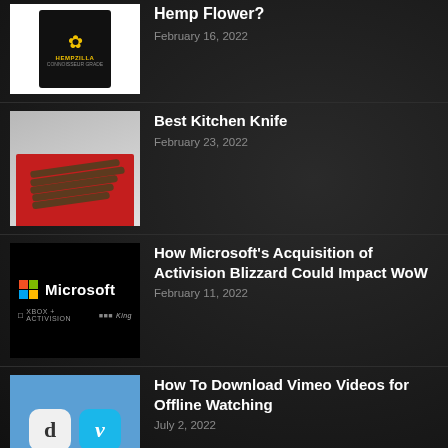[Figure (photo): Thumbnail of hemp flower product packaging with HEMPZILLA brand logo on black background]
Hemp Flower?
February 16, 2022
[Figure (photo): Thumbnail of kitchen knife set in red-lined box]
Best Kitchen Knife
February 23, 2022
[Figure (photo): Thumbnail of Microsoft logo with Xbox, Activision, Blizzard, and King logos]
How Microsoft's Acquisition of Activision Blizzard Could Impact WoW
February 11, 2022
[Figure (photo): Thumbnail showing Dailymotion and Vimeo app icons on blue background]
How To Download Vimeo Videos for Offline Watching
July 2, 2022
[Figure (photo): Partial thumbnail showing numbers, related to how to tell if someone is high]
How to tell if someone is high?